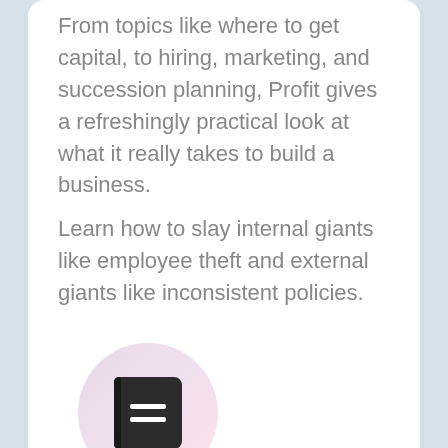From topics like where to get capital, to hiring, marketing, and succession planning, Profit gives a refreshingly practical look at what it really takes to build a business.
Learn how to slay internal giants like employee theft and external giants like inconsistent policies. This is the business book you have been looking for.
[Figure (illustration): A circular icon with a pastel pink/lavender gradient background containing a dark book icon with two white horizontal lines representing text on the book cover.]